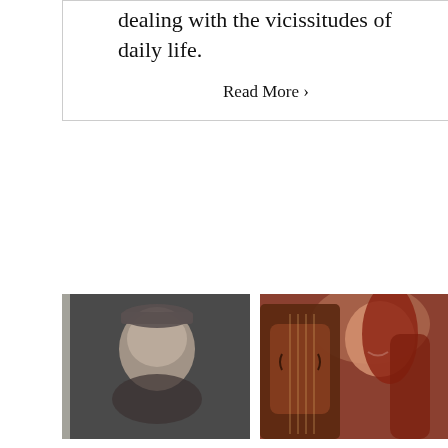dealing with the vicissitudes of daily life.
Read More >
[Figure (photo): Black and white vintage photo of a young man wearing a military-style cap, looking downward, photographed from a slight angle.]
An Apulian love story
By Aldo Magagnino | December 11th, 2021 | Apulian Days, Memory Lane
[Figure (photo): Color photo of a young woman with long reddish hair smiling while playing violin, close-up shot with warm tones.]
Violin lessons
By Kristine Crane, Associate Editor | July 20th, 2021 | Memory Lane, L'Americana